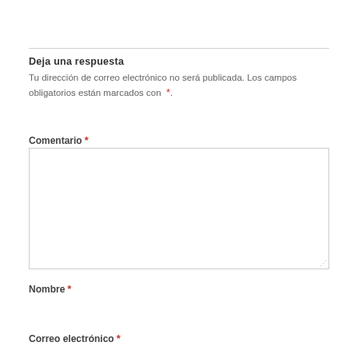Deja una respuesta
Tu dirección de correo electrónico no será publicada. Los campos obligatorios están marcados con *.
Comentario *
[Figure (other): Empty textarea input box for comment]
Nombre *
Correo electrónico *